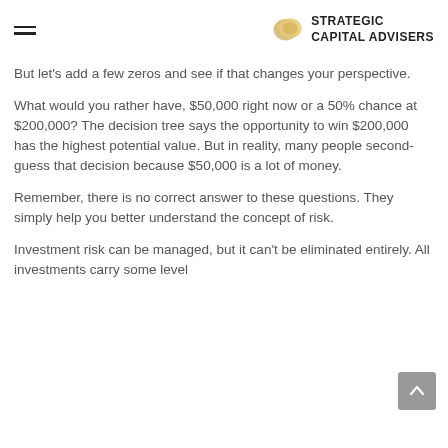Strategic Capital Advisers
But let’s add a few zeros and see if that changes your perspective.
What would you rather have, $50,000 right now or a 50% chance at $200,000? The decision tree says the opportunity to win $200,000 has the highest potential value. But in reality, many people second-guess that decision because $50,000 is a lot of money.
Remember, there is no correct answer to these questions. They simply help you better understand the concept of risk.
Investment risk can be managed, but it can’t be eliminated entirely. All investments carry some level